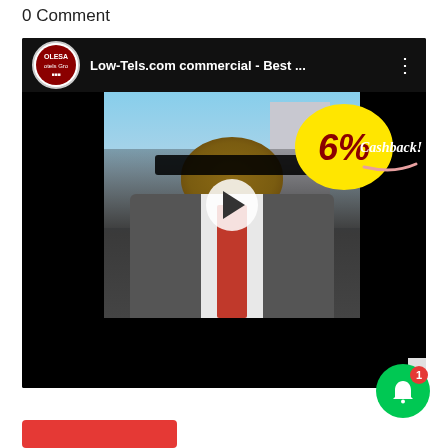0 Comment
[Figure (screenshot): YouTube-style video player showing a Low-Tels.com commercial thumbnail. The video features a man in a grey suit with a red tie standing in front of a hotel building. A yellow speech bubble overlay shows '6%' in dark red text, with 'Cashback!' written in white cursive script to the right. The video player has a channel logo (OLESA Hotels Group) and title 'Low-Tels.com commercial - Best ...' in the top bar, with a play button overlay in the center.]
0 Comment